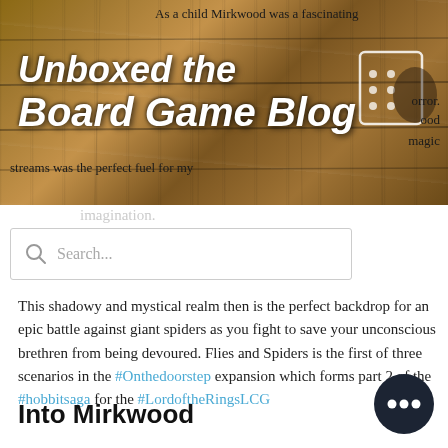[Figure (photo): Wooden crate/box background banner image for 'Unboxed the Board Game Blog' with rustic wooden texture in brown tones]
Unboxed the Board Game Blog
As a child Mirkwood was a fascinating ...orror. ...ood ...magic streams was the perfect fuel for my imagination.
Search...
This shadowy and mystical realm then is the perfect backdrop for an epic battle against giant spiders as you fight to save your unconscious brethren from being devoured. Flies and Spiders is the first of three scenarios in the #Onthedoorstep expansion which forms part 2 of the #hobbitsaga for the #LordoftheRingsLCG
Into Mirkwood